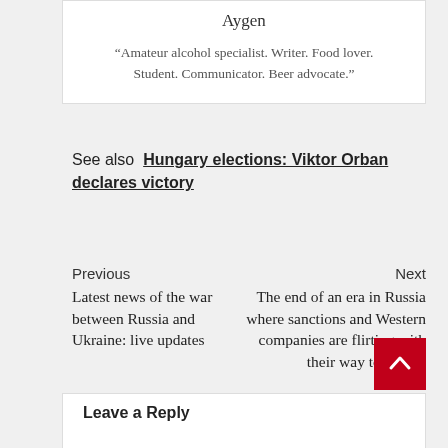Aygen
“Amateur alcohol specialist. Writer. Food lover. Student. Communicator. Beer advocate.”
See also  Hungary elections: Viktor Orban declares victory
Previous
Latest news of the war between Russia and Ukraine: live updates
Next
The end of an era in Russia where sanctions and Western companies are flirting with their way to escape
Leave a Reply